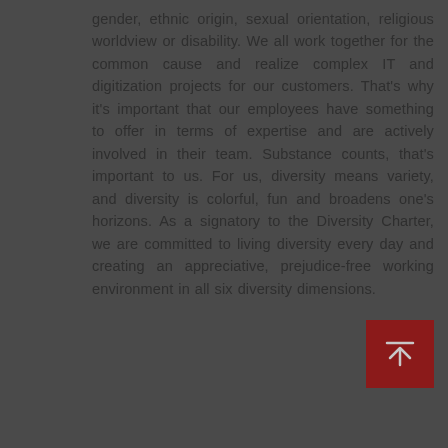gender, ethnic origin, sexual orientation, religious worldview or disability. We all work together for the common cause and realize complex IT and digitization projects for our customers. That's why it's important that our employees have something to offer in terms of expertise and are actively involved in their team. Substance counts, that's important to us. For us, diversity means variety, and diversity is colorful, fun and broadens one's horizons. As a signatory to the Diversity Charter, we are committed to living diversity every day and creating an appreciative, prejudice-free working environment in all six diversity dimensions.
[Figure (other): Dark red navigation button with upward arrow and horizontal line, used as a scroll-to-top or navigation icon.]